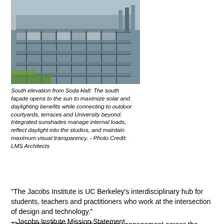[Figure (photo): Aerial/elevated view of a modern building's south elevation with glass facades, terraces and outdoor courtyards, as seen from Soda Hall.]
South elevation from Soda Hall: The south façade opens to the sun to maximize solar and daylighting benefits while connecting to outdoor courtyards, terraces and University beyond. Integrated sunshades manage internal loads, reflect daylight into the studios, and maintain maximum visual transparency. - Photo Credit: LMS Architects
“The Jacobs Institute is UC Berkeley’s interdisciplinary hub for students, teachers and practitioners who work at the intersection of design and technology.”
– Jacobs Institute Mission Statement
The Institute fosters interdisciplinary engagement across the University, welcoming students from other departments, inventors, tinkerers and over thirty student